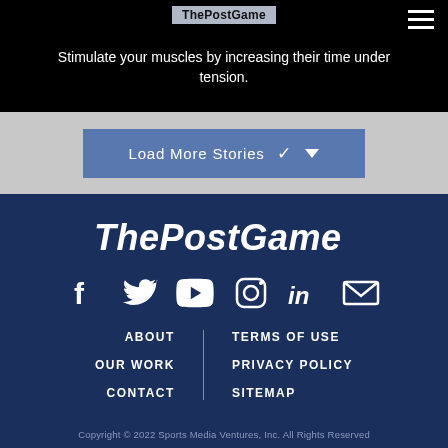ThePostGame
Stimulate your muscles by increasing their time under tension.
Load More Stories
[Figure (logo): ThePostGame logo in white italic bold text on dark navy background]
[Figure (infographic): Social media icons row: Facebook, Twitter, YouTube, Instagram, LinkedIn, Email — all white on dark navy]
ABOUT
OUR WORK
CONTACT
TERMS OF USE
PRIVACY POLICY
SITEMAP
Copyright © 2022 Sports Media Ventures, Inc. All Rights Reserved